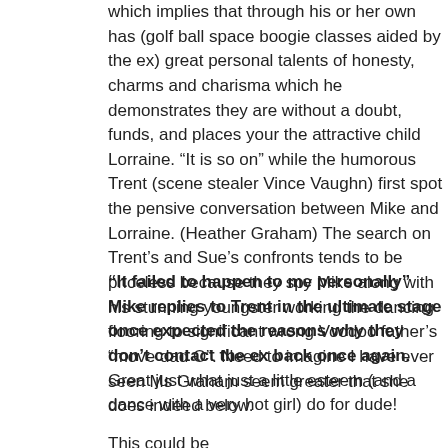which implies that through his or her own has (golf ball space boogie classes aided by the ex) great personal talents of honesty, charms and charisma which he demonstrates they are without a doubt, funds, and places your the attractive child Lorraine. “It is so on” while the humorous Trent (scene stealer Vince Vaughn) first spot the pensive conversation between Mike and Lorraine. (Heather Graham) The search on Trent’s and Sue’s confronts tends to be priceless because they spy Mike along with his stunning youngster working the dancing flooring to significant wrong Voodoo father’s “move dad O”. Need to imagine I have ever seen Ms Graham seem greater that she does indeed below.
“It failed to happen to me personally” Mike replies to Trent in the ultimate stage once expected the reasons why they don’t contact the ex back once again.
Great just what just a little esteem (and a dance with a very hot girl) do for dude!
This could be an outstanding state film about it seems...